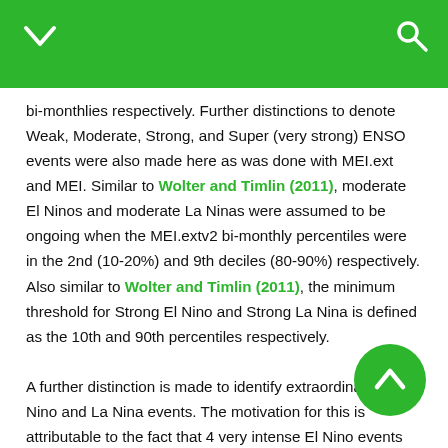bi-monthlies respectively. Further distinctions to denote Weak, Moderate, Strong, and Super (very strong) ENSO events were also made here as was done with MEI.ext and MEI. Similar to Wolter and Timlin (2011), moderate El Ninos and moderate La Ninas were assumed to be ongoing when the MEI.extv2 bi-monthly percentiles were in the 2nd (10-20%) and 9th deciles (80-90%) respectively. Also similar to Wolter and Timlin (2011), the minimum threshold for Strong El Nino and Strong La Nina is defined as the 10th and 90th percentiles respectively. A further distinction is made to identify extraordinarily El Nino and La Nina events. The motivation for this is attributable to the fact that 4 very intense El Nino events (1877-78, 1982-83, 1997-98, 2015-16) are all more intense